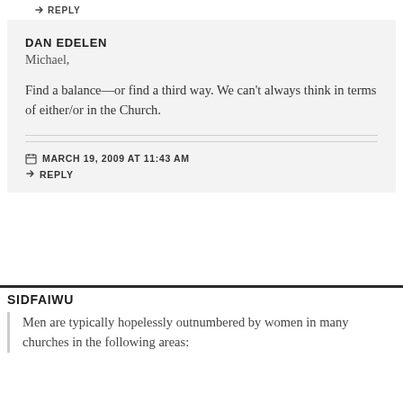↳ REPLY
DAN EDELEN
Michael,
Find a balance—or find a third way. We can't always think in terms of either/or in the Church.
MARCH 19, 2009 AT 11:43 AM
↳ REPLY
SIDFAIWU
Men are typically hopelessly outnumbered by women in many churches in the following areas: